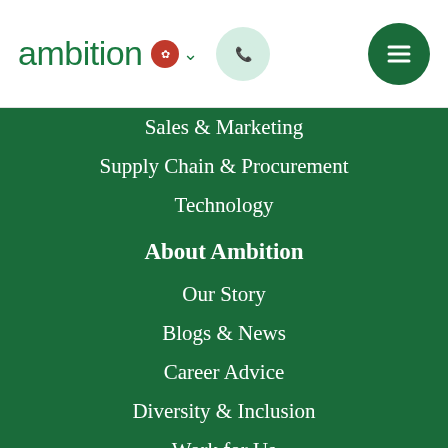ambition [HK flag] ˅ [phone icon] [menu icon]
Sales & Marketing
Supply Chain & Procurement
Technology
About Ambition
Our Story
Blogs & News
Career Advice
Diversity & Inclusion
Work for Us
Refer a Friend
Jobseekers FAQ
Ambition Group Website